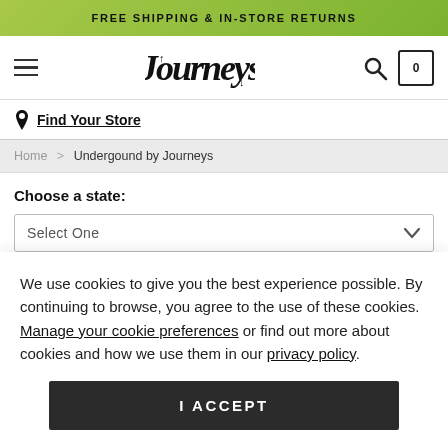FREE SHIPPING & IN-STORE RETURNS
[Figure (logo): Journeys logo with stylized graffiti-style lettering, hamburger menu icon on left, search and cart icons on right]
Find Your Store
Home > Undergound by Journeys
Choose a state:
Select One
We use cookies to give you the best experience possible. By continuing to browse, you agree to the use of these cookies. Manage your cookie preferences or find out more about cookies and how we use them in our privacy policy.
I ACCEPT